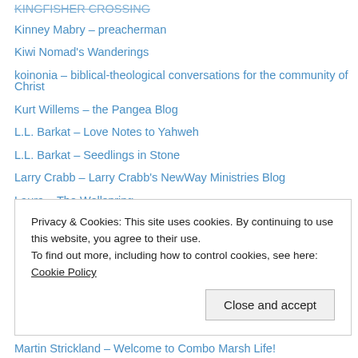KINGFISHER CROSSING
Kinney Mabry – preacherman
Kiwi Nomad's Wanderings
koinonia – biblical-theological conversations for the community of Christ
Kurt Willems – the Pangea Blog
L.L. Barkat – Love Notes to Yahweh
L.L. Barkat – Seedlings in Stone
Larry Crabb – Larry Crabb's NewWay Ministries Blog
Laura – The Wellspring
LaVonne Neff – Lively Dust
Leo Hartshorn – A Different Drummer
Lois Tverberg – Our Rabbi Jesus
Lorenzo the Llama
Lukas McKnight – My World of Beer
Privacy & Cookies: This site uses cookies. By continuing to use this website, you agree to their use. To find out more, including how to control cookies, see here: Cookie Policy
Martin Strickland – Welcome to Combo Marsh Life!